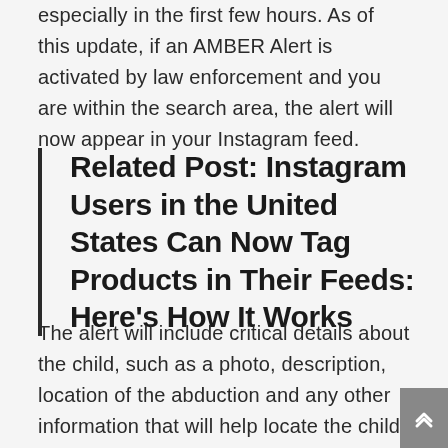especially in the first few hours. As of this update, if an AMBER Alert is activated by law enforcement and you are within the search area, the alert will now appear in your Instagram feed.
Related Post: Instagram Users in the United States Can Now Tag Products in Their Feeds: Here's How It Works
The alert will include critical details about the child, such as a photo, description, location of the abduction and any other information that will help locate the child. It is also possible to share the alert with friends.